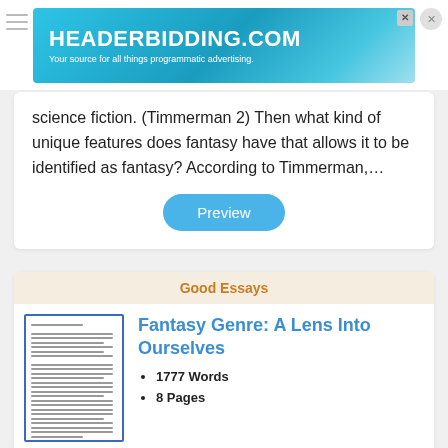[Figure (screenshot): Advertisement banner for HEADERBIDDING.COM - Your source for all things programmatic advertising.]
science fiction. (Timmerman 2) Then what kind of unique features does fantasy have that allows it to be identified as fantasy? According to Timmerman,…
Preview
Good Essays
[Figure (screenshot): Thumbnail image of essay document]
Fantasy Genre: A Lens Into Ourselves
1777 Words
8 Pages